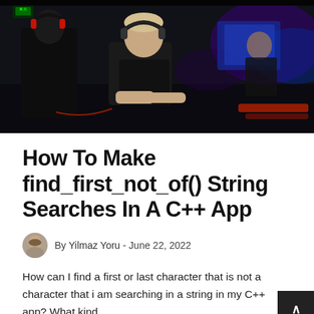[Figure (photo): Gaming room scene with multiple people sitting at computers with headphones and RGB lighting, one person in the center looking toward camera while typing]
How To Make find_first_not_of() String Searches In A C++ App
By Yilmaz Yoru  -  June 22, 2022
How can I find a first or last character that is not a character that i am searching in a string in my C++ app? What kind